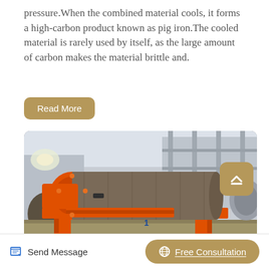pressure.When the combined material cools, it forms a high-carbon product known as pig iron.The cooled material is rarely used by itself, as the large amount of carbon makes the material brittle and.
Read More
[Figure (photo): Industrial machinery photo showing an orange-painted ball mill or rotary drum machine inside a factory/workshop environment. The machine has a large cylindrical gray drum mounted on an orange frame with rollers.]
Send Message
Free Consultation